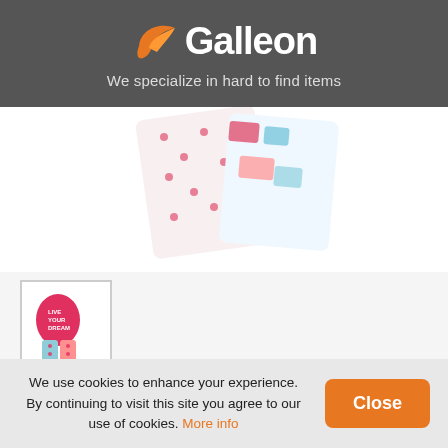Galleon — We specialize in hard to find items
[Figure (photo): Product image of Carter's Baby Girls' 4 Pc Cotton pajama set showing pink striped and star-print pieces]
[Figure (photo): Thumbnail of Carter's Baby Girls' 4 Pc Cotton pajama set with pink top showing text and patterned bottoms]
Carter's Baby Girls' 4 Pc Cotton 331g170,
Print, 6M
We use cookies to enhance your experience. By continuing to visit this site you agree to our use of cookies. More info